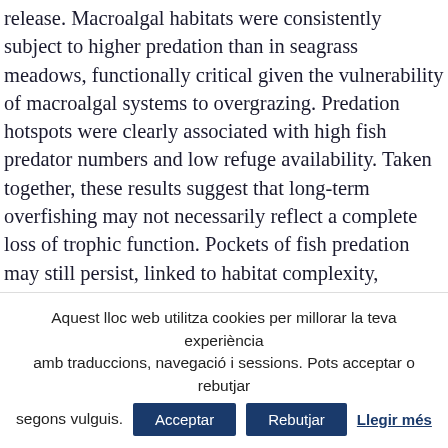release. Macroalgal habitats were consistently subject to higher predation than in seagrass meadows, functionally critical given the vulnerability of macroalgal systems to overgrazing. Predation hotspots were clearly associated with high fish predator numbers and low refuge availability. Taken together, these results suggest that long-term overfishing may not necessarily reflect a complete loss of trophic function. Pockets of fish predation may still persist, linked to habitat complexity, predator behavioral adaptations and landscape-level features. Given the essential role top-down control plays in macroalgal communities, regulating fishing at these predation hotspots is vital to effectively conserve
Aquest lloc web utilitza cookies per millorar la teva experiència amb traduccions, navegació i sessions. Pots acceptar o rebutjar segons vulguis.